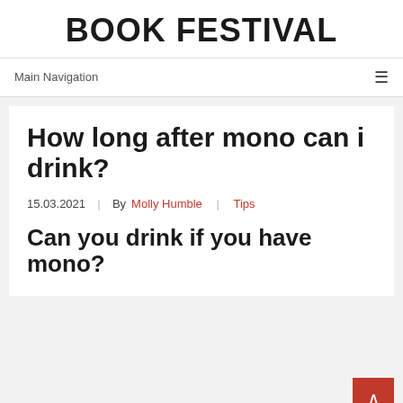BOOK FESTIVAL
Main Navigation
How long after mono can i drink?
15.03.2021 | By Molly Humble | Tips
Can you drink if you have mono?